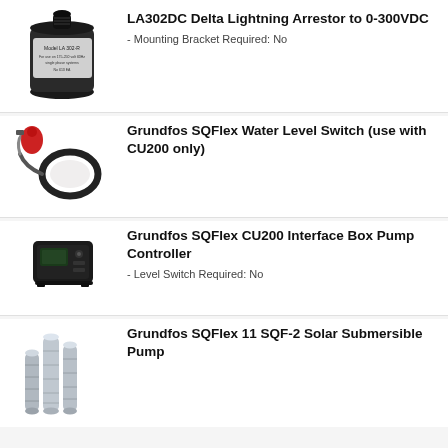[Figure (photo): LA302DC Delta Lightning Arrestor device - black cylindrical component]
LA302DC Delta Lightning Arrestor to 0-300VDC
- Mounting Bracket Required: No
[Figure (photo): Grundfos SQFlex Water Level Switch - float switch with cable]
Grundfos SQFlex Water Level Switch (use with CU200 only)
[Figure (photo): Grundfos SQFlex CU200 Interface Box Pump Controller - black rectangular control box]
Grundfos SQFlex CU200 Interface Box Pump Controller
- Level Switch Required: No
[Figure (photo): Grundfos SQFlex 11 SQF-2 Solar Submersible Pump - three cylindrical stainless steel pump assemblies]
Grundfos SQFlex 11 SQF-2 Solar Submersible Pump